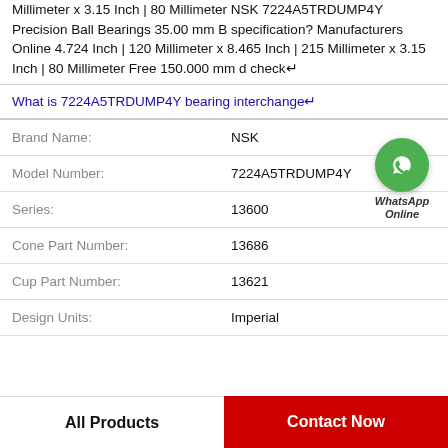Millimeter x 3.15 Inch | 80 Millimeter NSK 7224A5TRDUMP4Y Precision Ball Bearings 35.00 mm B specification? Manufacturers Online 4.724 Inch | 120 Millimeter x 8.465 Inch | 215 Millimeter x 3.15 Inch | 80 Millimeter Free 150.000 mm d check↵
What is 7224A5TRDUMP4Y bearing interchange↵
| Field | Value |
| --- | --- |
| Brand Name: | NSK |
| Model Number: | 7224A5TRDUMP4Y |
| Series: | 13600 |
| Cone Part Number: | 13686 |
| Cup Part Number: | 13621 |
| Design Units: | Imperial |
[Figure (logo): WhatsApp Online green circle icon with phone symbol and text 'WhatsApp Online']
All Products
Contact Now